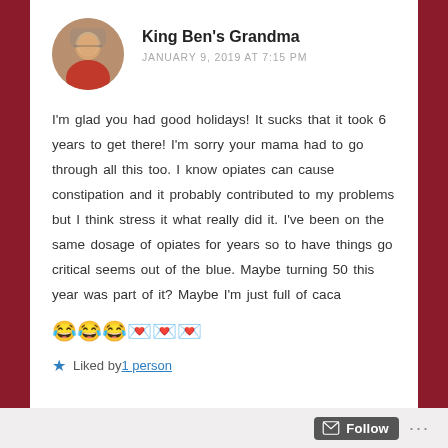King Ben's Grandma
JANUARY 9, 2019 AT 7:15 PM
I'm glad you had good holidays! It sucks that it took 6 years to get there! I'm sorry your mama had to go through all this too. I know opiates can cause constipation and it probably contributed to my problems but I think stress it what really did it. I've been on the same dosage of opiates for years so to have things go critical seems out of the blue. Maybe turning 50 this year was part of it? Maybe I'm just full of caca 😂😂😂💌💌💌
Liked by 1 person